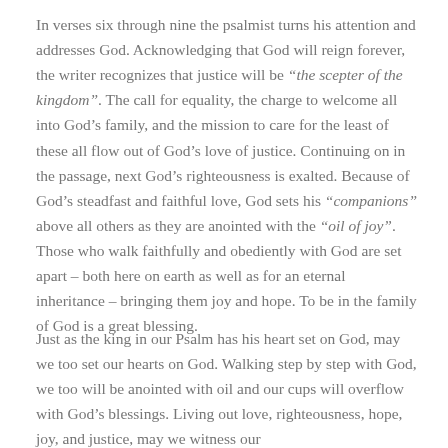In verses six through nine the psalmist turns his attention and addresses God. Acknowledging that God will reign forever, the writer recognizes that justice will be “the scepter of the kingdom”. The call for equality, the charge to welcome all into God’s family, and the mission to care for the least of these all flow out of God’s love of justice. Continuing on in the passage, next God’s righteousness is exalted. Because of God’s steadfast and faithful love, God sets his “companions” above all others as they are anointed with the “oil of joy”. Those who walk faithfully and obediently with God are set apart – both here on earth as well as for an eternal inheritance – bringing them joy and hope. To be in the family of God is a great blessing.
Just as the king in our Psalm has his heart set on God, may we too set our hearts on God. Walking step by step with God, we too will be anointed with oil and our cups will overflow with God’s blessings. Living out love, righteousness, hope, joy, and justice, may we witness our